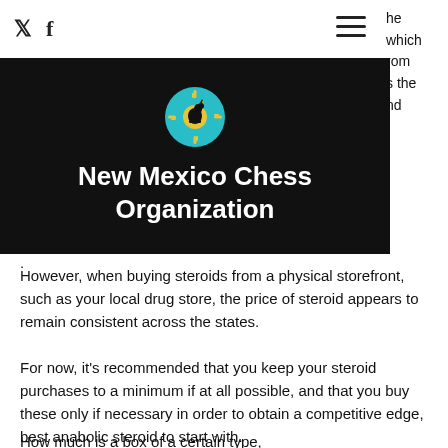Twitter  Facebook  [hamburger menu]
[Figure (logo): New Mexico Chess Organization logo: teal circle with yellow horse chess piece silhouette and Zia sun symbol]
New Mexico Chess Organization
However, when buying steroids from a physical storefront, such as your local drug store, the price of steroid appears to remain consistent across the states.
For now, it's recommended that you keep your steroid purchases to a minimum if at all possible, and that you buy these only if necessary in order to obtain a competitive edge, best anabolic steroid to start with.
How much is a box of a certain type,